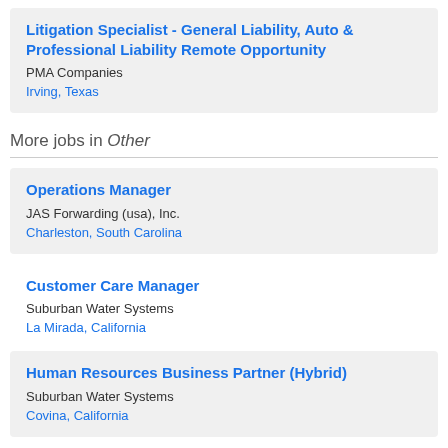Litigation Specialist - General Liability, Auto & Professional Liability Remote Opportunity | PMA Companies | Irving, Texas
More jobs in Other
Operations Manager | JAS Forwarding (usa), Inc. | Charleston, South Carolina
Customer Care Manager | Suburban Water Systems | La Mirada, California
Human Resources Business Partner (Hybrid) | Suburban Water Systems | Covina, California